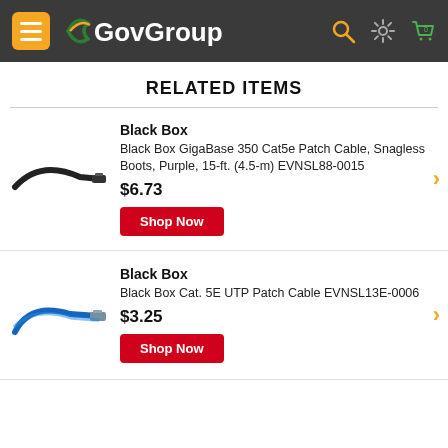GovGroup
RELATED ITEMS
[Figure (photo): Black ethernet patch cable (dark/black colored) with RJ45 connector]
Black Box
Black Box GigaBase 350 Cat5e Patch Cable, Snagless Boots, Purple, 15-ft. (4.5-m) EVNSL88-0015
$6.73
Shop Now
[Figure (photo): Blue ethernet patch cable with RJ45 connector]
Black Box
Black Box Cat. 5E UTP Patch Cable EVNSL13E-0006
$3.25
Shop Now